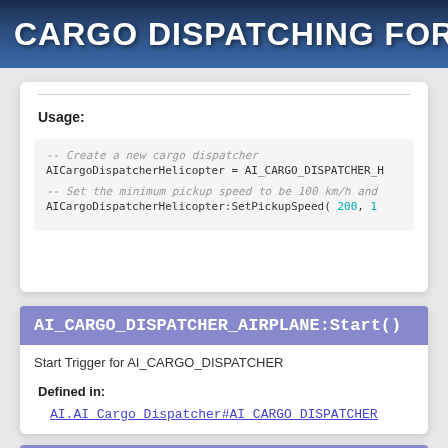AI CARGO DISPATCHING for AIRPLANES
Usage:
-- Create a new cargo dispatcher
AICargoDispatcherHelicopter = AI_CARGO_DISPATCHER_H
-- Set the minimum pickup speed to be 100 km/h and
AICargoDispatcherHelicopter:SetPickupSpeed( 200, 1
AI_CARGO_DISPATCHER_AIRPLANE:Start()
Start Trigger for AI_CARGO_DISPATCHER
Defined in:
AI.AI_Cargo_Dispatcher#AI_CARGO_DISPATCHER